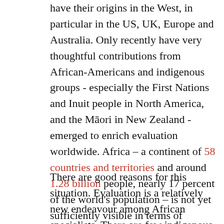have their origins in the West, in particular in the US, UK, Europe and Australia. Only recently have very thoughtful contributions from African-Americans and indigenous groups - especially the First Nations and Inuit people in North America, and the Māori in New Zealand - emerged to enrich evaluation worldwide. Africa – a continent of 58 countries and territories and around 1.28 billion people, nearly 17 percent of the world's population – is not yet sufficiently visible in terms of creative contributions to, and innovations in evaluation.
There are good reasons for this situation. Evaluation is a relatively new endeavour among African specialists. There are few indigenous evaluators and those with solid reputations tend to be overcommitted and